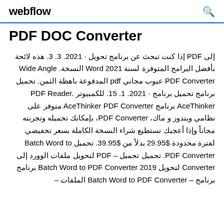webflow
PDF DOC Converter
· 2021. 3. 3. إذا كنت تبحث عن برنامج تحويل PDF إلى هذه لائحة بأفضل البرامج المتوفرة لسنة Word 2021 النسخة. Wide Angle PDF Converter عيوب مجاني pdf المدفوعة باهظة الثمن. تحميل برنامج تحميل برنامج · 2021. 1. 15. للكمبيوتر PDF Reader. AceThinker برنامج AceThinker PDF Converter متوفر على نظامي ويندوز و ماك، PDF Converter، بإمكانك تحميله وتجربته مجاناً وإذا أعجبك تستطيع شراء النسخة الكاملة بسعر تخفيضي لفترة محدودة $29.95 بدلاً من $39.95. تحميل Batch Word to PDF Converter. تحميل – PDF لتحويل ملفات الوورد إلى تحويل Batch Word to PDF Converter 2019 برنامج برنامج – Batch Word to PDF Converter الملفات